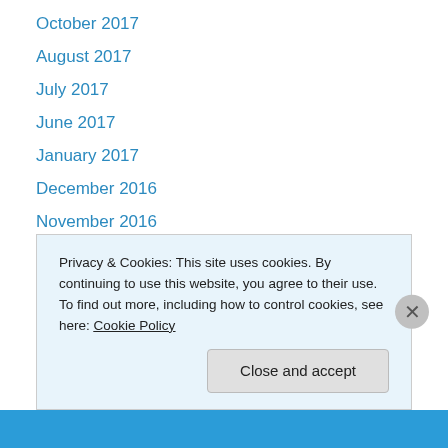October 2017
August 2017
July 2017
June 2017
January 2017
December 2016
November 2016
September 2016
August 2016
July 2016
June 2016
May 2016
April 2016
Privacy & Cookies: This site uses cookies. By continuing to use this website, you agree to their use.
To find out more, including how to control cookies, see here: Cookie Policy
Close and accept